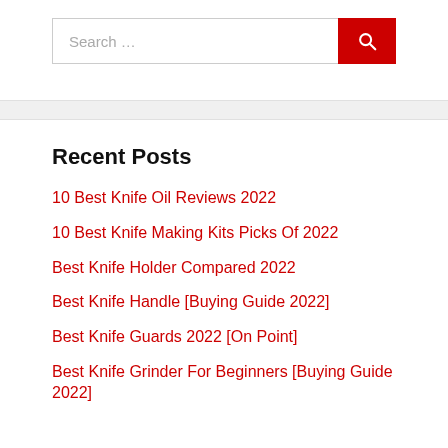[Figure (screenshot): Search bar with text input field showing placeholder 'Search ...' and a red search button with magnifying glass icon]
Recent Posts
10 Best Knife Oil Reviews 2022
10 Best Knife Making Kits Picks Of 2022
Best Knife Holder Compared 2022
Best Knife Handle [Buying Guide 2022]
Best Knife Guards 2022 [On Point]
Best Knife Grinder For Beginners [Buying Guide 2022]